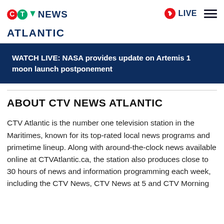CTV News Atlantic
WATCH LIVE: NASA provides update on Artemis 1 moon launch postponement
ABOUT CTV NEWS ATLANTIC
CTV Atlantic is the number one television station in the Maritimes, known for its top-rated local news programs and primetime lineup. Along with around-the-clock news available online at CTVAtlantic.ca, the station also produces close to 30 hours of news and information programming each week, including the CTV News, CTV News at 5 and CTV Morning